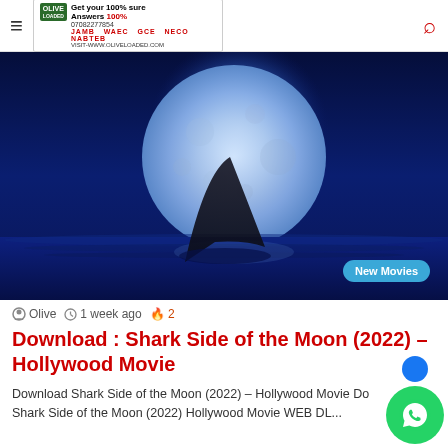≡  [Ad banner: Get your 100% sure Answers 07082277854 JAMB WAEC GCE NECO NABTEB VISIT-WWW.OLIVELLOADED.COM]  🔍
[Figure (photo): A shark fin rising from dark blue water against a large blue moon in the background, with a 'New Movies' badge in the lower right corner.]
Olive  1 week ago  🔥 2
Download : Shark Side of the Moon (2022) – Hollywood Movie
Download Shark Side of the Moon (2022) – Hollywood Movie Do... Shark Side of the Moon (2022) Hollywood Movie WEB DL...